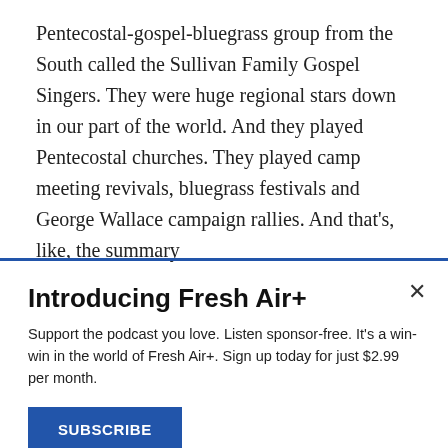Pentecostal-gospel-bluegrass group from the South called the Sullivan Family Gospel Singers. They were huge regional stars down in our part of the world. And they played Pentecostal churches. They played camp meeting revivals, bluegrass festivals and George Wallace campaign rallies. And that's, like, the summary
(LAUGHTER)
STUART: How's that? And so I went on the road that
Introducing Fresh Air+
Support the podcast you love. Listen sponsor-free. It's a win-win in the world of Fresh Air+. Sign up today for just $2.99 per month.
SUBSCRIBE